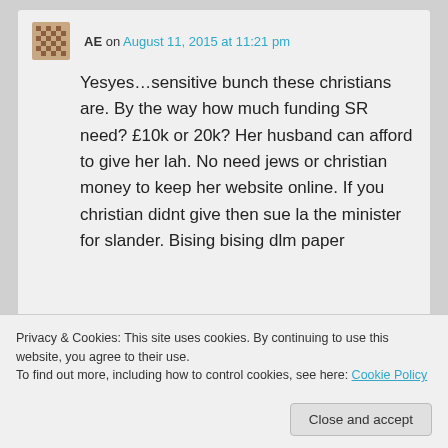AE on August 11, 2015 at 11:21 pm
Yesyes…sensitive bunch these christians are. By the way how much funding SR need? £10k or 20k? Her husband can afford to give her lah. No need jews or christian money to keep her website online. If you christian didnt give then sue la the minister for slander. Bising bising dlm paper
Privacy & Cookies: This site uses cookies. By continuing to use this website, you agree to their use.
To find out more, including how to control cookies, see here: Cookie Policy